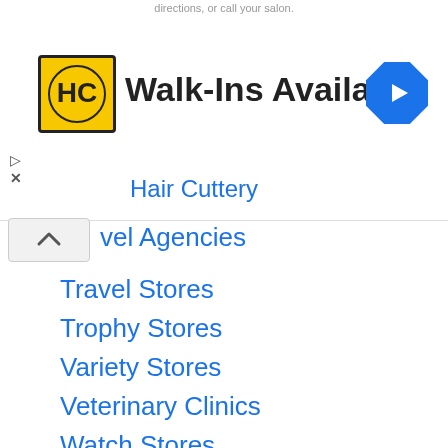[Figure (other): Advertisement banner for Hair Cuttery with logo and Walk-Ins Available text, navigation icon]
vel Agencies
Travel Stores
Trophy Stores
Variety Stores
Veterinary Clinics
Watch Stores
Wedding Stores
Weight Loss Clinics
Wellness Shops
Wig Shops
Wine Stores
Yoga Studios